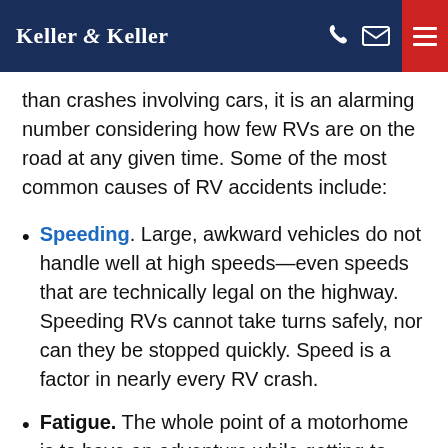Keller & Keller
than crashes involving cars, it is an alarming number considering how few RVs are on the road at any given time. Some of the most common causes of RV accidents include:
Speeding. Large, awkward vehicles do not handle well at high speeds—even speeds that are technically legal on the highway. Speeding RVs cannot take turns safely, nor can they be stopped quickly. Speed is a factor in nearly every RV crash.
Fatigue. The whole point of a motorhome is to have an adventure while getting to